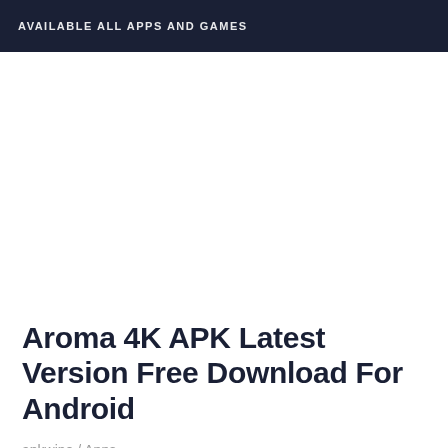AVAILABLE ALL APPS AND GAMES
Aroma 4K APK Latest Version Free Download For Android
apkwine / Apps